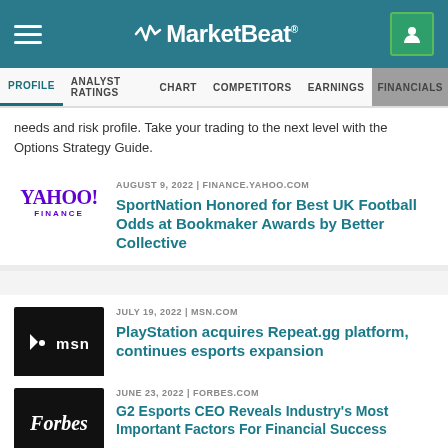MarketBeat
PROFILE | ANALYST RATINGS | CHART | COMPETITORS | EARNINGS | FINANCIALS
needs and risk profile. Take your trading to the next level with the Options Strategy Guide.
AUGUST 9, 2022 | FINANCE.YAHOO.COM
SportNation Honored for Best UK Football Odds at Bookmaker Awards by Better Collective
JULY 19, 2022 | MSN.COM
PlayStation acquires Repeat.gg platform, continues esports expansion
JUNE 23, 2022 | FORBES.COM
G2 Esports CEO Reveals Industry's Most Important Factors For Financial Success